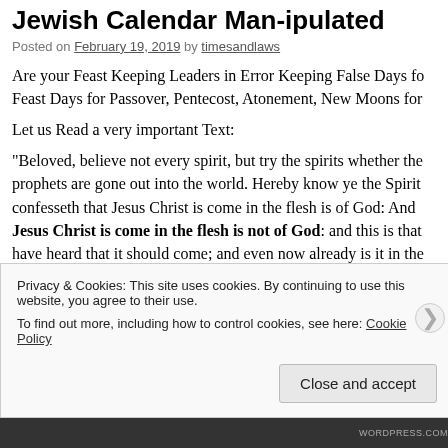Jewish Calendar Man-ipulated
Posted on February 19, 2019 by timesandlaws
Are your Feast Keeping Leaders in Error Keeping False Days fo... Feast Days for Passover, Pentecost, Atonement, New Moons for...
Let us Read a very important Text:
“Beloved, believe not every spirit, but try the spirits whether the... prophets are gone out into the world. Hereby know ye the Spirit... confesseth that Jesus Christ is come in the flesh is of God: And Jesus Christ is come in the flesh is not of God: and this is that... have heard that it should come; and even now already is it in the...
Privacy & Cookies: This site uses cookies. By continuing to use this website, you agree to their use. To find out more, including how to control cookies, see here: Cookie Policy
Close and accept